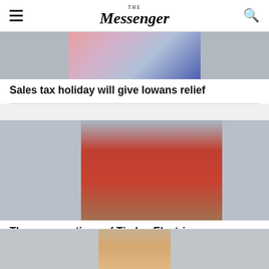The Messenger
[Figure (photo): Partial view of clothing items on racks, including pink and blue garments]
Sales tax holiday will give Iowans relief
[Figure (photo): Four people standing in front of a red pickup truck with Tjaden Electric branding, outdoors on a dirt lot with structures in background]
Three generations of Tjaden Electric
[Figure (photo): Partial headshot of a bald man in professional attire against a brown background]